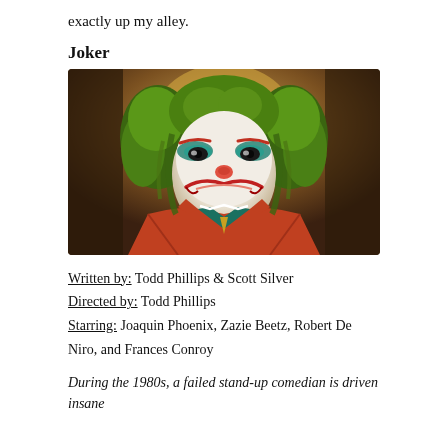exactly up my alley.
Joker
[Figure (photo): Movie still from Joker (2019) showing Joaquin Phoenix in full Joker makeup — white face paint, red mouth, blue eye makeup, green hair, wearing an orange-red suit with teal shirt and tie, posing against a warm brown background.]
Written by: Todd Phillips & Scott Silver
Directed by: Todd Phillips
Starring: Joaquin Phoenix, Zazie Beetz, Robert De Niro, and Frances Conroy
During the 1980s, a failed stand-up comedian is driven insane